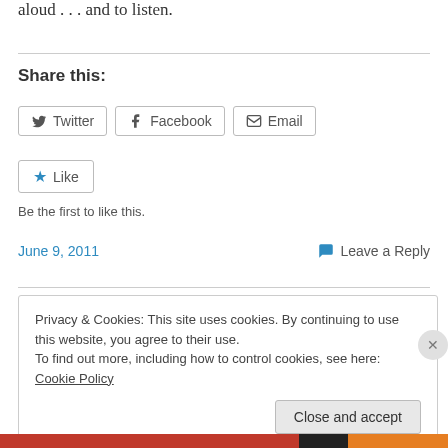aloud . . . and to listen.
Share this:
[Figure (other): Social share buttons: Twitter, Facebook, Email]
[Figure (other): Like button with star icon]
Be the first to like this.
June 9, 2011
Leave a Reply
Privacy & Cookies: This site uses cookies. By continuing to use this website, you agree to their use.
To find out more, including how to control cookies, see here: Cookie Policy